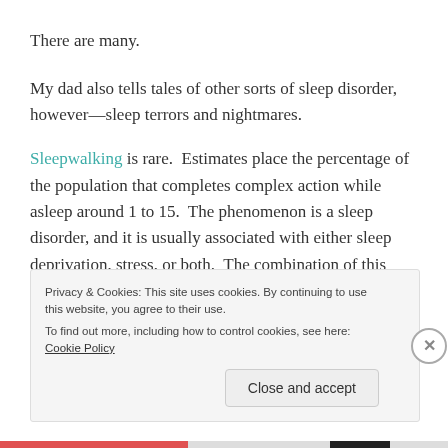There are many.
My dad also tells tales of other sorts of sleep disorder, however—sleep terrors and nightmares.
Sleepwalking is rare.  Estimates place the percentage of the population that completes complex action while asleep around 1 to 15.  The phenomenon is a sleep disorder, and it is usually associated with either sleep deprivation, stress, or both.  The combination of this disorder with those of nightmares and terrors is even
Privacy & Cookies: This site uses cookies. By continuing to use this website, you agree to their use.
To find out more, including how to control cookies, see here: Cookie Policy
Close and accept